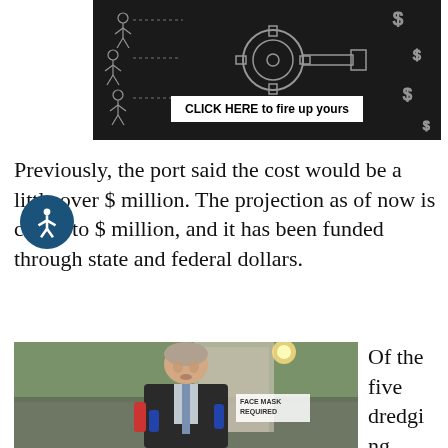[Figure (illustration): Dark chalkboard-style advertisement with illustrated figures and a 'CLICK HERE to fire up yours' button]
Previously, the port said the cost would be a little over $[amount] million. The projection as of now is closer to $[amount] million, and it has been funded through state and federal dollars.
[Figure (photo): A man in a dark suit speaking at a podium with microphones; a 'FACE MASK REQUIRED' sign is visible in the background]
Of the five dredging constr